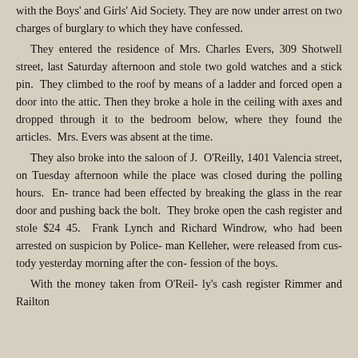with the Boys' and Girls' Aid Society. They are now under arrest on two charges of burglary to which they have confessed.

They entered the residence of Mrs. Charles Evers, 309 Shotwell street, last Saturday afternoon and stole two gold watches and a stick pin. They climbed to the roof by means of a ladder and forced open a door into the attic. Then they broke a hole in the ceiling with axes and dropped through it to the bedroom below, where they found the articles. Mrs. Evers was absent at the time.

They also broke into the saloon of J. O'Reilly, 1401 Valencia street, on Tuesday afternoon while the place was closed during the polling hours. Entrance had been effected by breaking the glass in the rear door and pushing back the bolt. They broke open the cash register and stole $24 45. Frank Lynch and Richard Windrow, who had been arrested on suspicion by Policeman Kelleher, were released from custody yesterday morning after the confession of the boys.

With the money taken from O'Reilly's cash register Rimmer and Railton